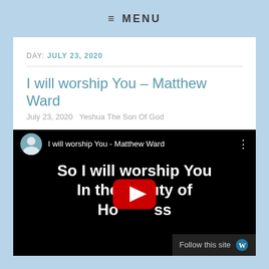≡ MENU
DAY: JULY 23, 2020
I will worship You – Matthew Ward
July 23, 2020   Yeshua The Son Of God
[Figure (screenshot): YouTube video embed showing 'I will worship You - Matthew Ward' with lyrics 'So I will worship You / In the beauty of / Holiness' and a YouTube play button overlay. A man's circular avatar photo appears in the top left of the video player.]
Follow this site